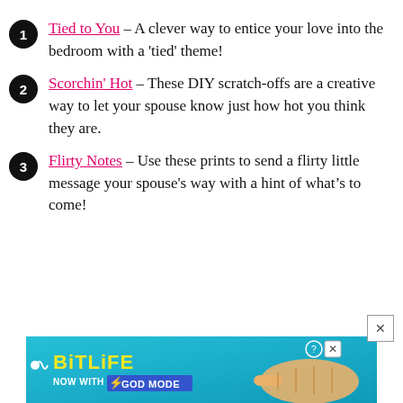Tied to You – A clever way to entice your love into the bedroom with a 'tied' theme!
Scorchin' Hot – These DIY scratch-offs are a creative way to let your spouse know just how hot you think they are.
Flirty Notes – Use these prints to send a flirty little message your spouse's way with a hint of what's to come!
[Figure (illustration): BitLife advertisement banner with cyan/teal background, BitLife logo in yellow, 'Now With GOD MODE' text with lightning bolt, and a cartoon hand pointing.]